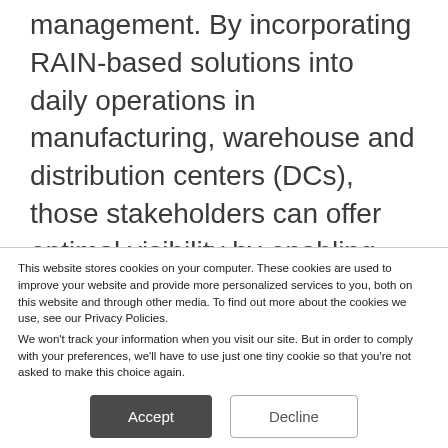management. By incorporating RAIN-based solutions into daily operations in manufacturing, warehouse and distribution centers (DCs), those stakeholders can offer optimal visibility by enabling item level tracking and supply chain traceability.
While RAIN is part of today's IoT, additional and complementary technologies like
This website stores cookies on your computer. These cookies are used to improve your website and provide more personalized services to you, both on this website and through other media. To find out more about the cookies we use, see our Privacy Policies.
We won't track your information when you visit our site. But in order to comply with your preferences, we'll have to use just one tiny cookie so that you're not asked to make this choice again.